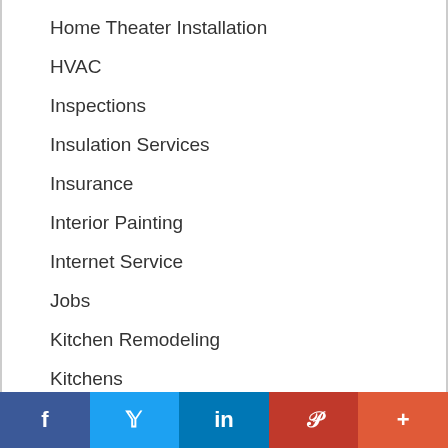Home Theater Installation
HVAC
Inspections
Insulation Services
Insurance
Interior Painting
Internet Service
Jobs
Kitchen Remodeling
Kitchens
Laminate Flooring Products
Laminate Flooring Services
Laminate Wood or Stone
Landscape Designer